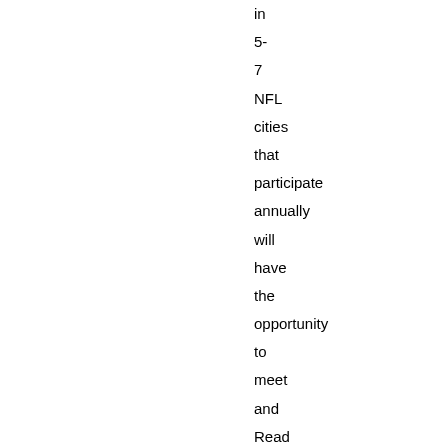in 5- 7 NFL cities that participate annually will have the opportunity to meet and Read with Reed. The legendary wideout will stop by, read and encourage students about the